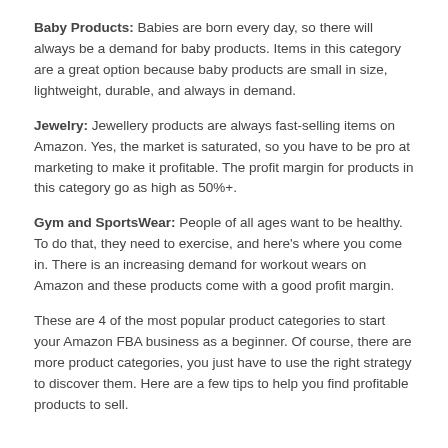Baby Products: Babies are born every day, so there will always be a demand for baby products. Items in this category are a great option because baby products are small in size, lightweight, durable, and always in demand.
Jewelry: Jewellery products are always fast-selling items on Amazon. Yes, the market is saturated, so you have to be pro at marketing to make it profitable. The profit margin for products in this category go as high as 50%+.
Gym and SportsWear: People of all ages want to be healthy. To do that, they need to exercise, and here's where you come in. There is an increasing demand for workout wears on Amazon and these products come with a good profit margin.
These are 4 of the most popular product categories to start your Amazon FBA business as a beginner. Of course, there are more product categories, you just have to use the right strategy to discover them. Here are a few tips to help you find profitable products to sell.